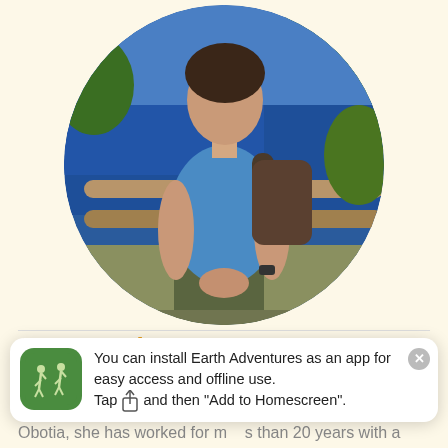[Figure (photo): Circular profile photo of Janet Barlow (Willow), a woman wearing a blue t-shirt and backpack, standing near a wooden fence with a blue lake and green trees in the background, outdoors on a sunny day.]
Janet Barlow
Also known as Willow, Janet loves chocolate, hiking and
You can install Earth Adventures as an app for easy access and offline use. Tap and then "Add to Homescreen".
Obotia, she has worked for m    s than 20 years with a